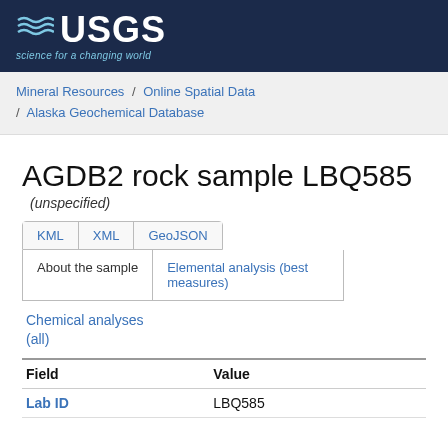[Figure (logo): USGS logo with waves icon and tagline 'science for a changing world' on dark navy background]
Mineral Resources / Online Spatial Data / Alaska Geochemical Database
AGDB2 rock sample LBQ585
(unspecified)
KML   XML   GeoJSON
About the sample   Elemental analysis (best measures)
Chemical analyses (all)
| Field | Value |
| --- | --- |
| Lab ID | LBQ585 |